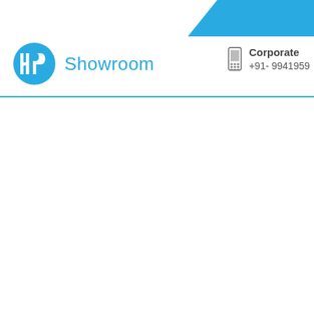[Figure (logo): HP Showroom header with HP circular logo in blue and 'Showroom' text in light blue, with blue diagonal decorative shape in top-right corner]
Corporate
+91- 9941959